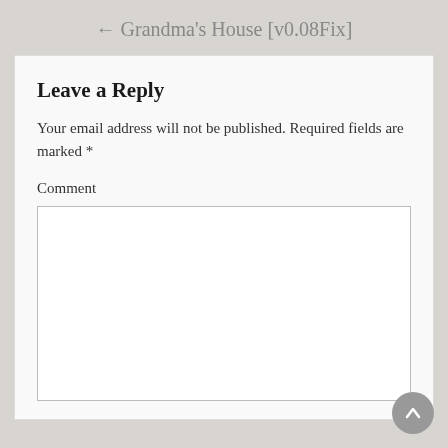← Grandma's House [v0.08Fix]
Leave a Reply
Your email address will not be published. Required fields are marked *
Comment
[Figure (other): Empty comment text area input box]